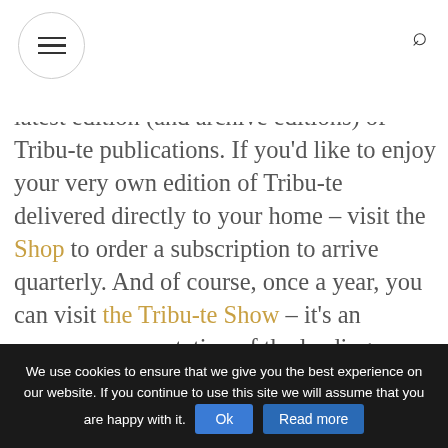Navigation menu and search icon
latest edition (and archive editions) of Tribu-te publications. If you'd like to enjoy your very own edition of Tribu-te delivered directly to your home – visit the Shop to order a subscription to arrive quarterly. And of course, once a year, you can visit the Tribu-te Show – it's an awesome presentation of the leading hairdressers on the best stage possible in central London each October! Contact us if you have any questions or would like to submit photography and ideas for any of our editions in Europe – we're particularly keen to see your
We use cookies to ensure that we give you the best experience on our website. If you continue to use this site we will assume that you are happy with it.